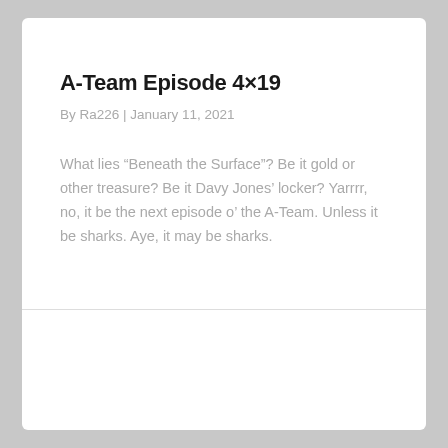A-Team Episode 4×19
By Ra226 | January 11, 2021
What lies “Beneath the Surface”? Be it gold or other treasure? Be it Davy Jones’ locker? Yarrrr, no, it be the next episode o’ the A-Team. Unless it be sharks. Aye, it may be sharks.